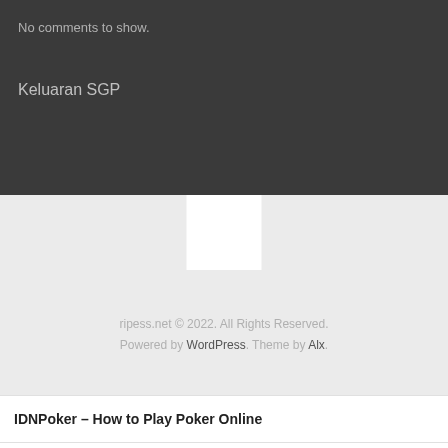No comments to show.
Keluaran SGP
[Figure (other): White rectangle box in light gray section]
ripess.net © 2022. All Rights Reserved. Powered by WordPress. Theme by Alx.
IDNPoker – How to Play Poker Online
MLB Betting at SBOBet